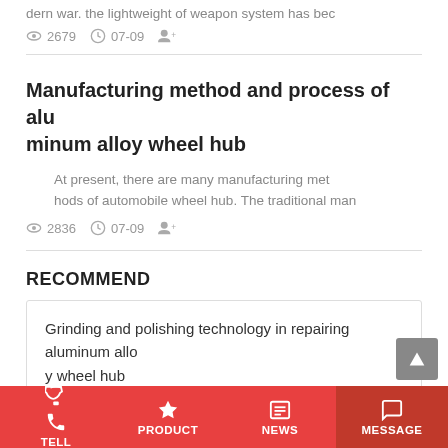dern war. the lightweight of weapon system has bec
👁 2679   🕐 07-09   👤+
Manufacturing method and process of aluminum alloy wheel hub
At present, there are many manufacturing methods of automobile wheel hub. The traditional man
👁 2836   🕐 07-09   👤+
RECOMMEND
Grinding and polishing technology in repairing aluminum alloy wheel hub
TELL   PRODUCT   NEWS   MESSAGE